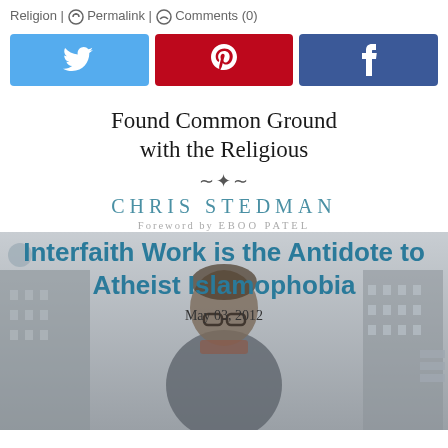Religion | Permalink | Comments (0)
[Figure (other): Social sharing buttons: Twitter (blue), Pinterest (red), Facebook (blue)]
[Figure (illustration): Book cover image for 'Faitheist' by Chris Stedman with foreword by Eboo Patel, showing a person standing in an urban setting. Text overlaid: 'Found Common Ground with the Religious', author name 'CHRIS STEDMAN', 'Foreword by EBOO PATEL', article title 'Interfaith Work is the Antidote to Atheist Islamophobia', date 'May 03, 2012']
Found Common Ground with the Religious
CHRIS STEDMAN
Foreword by EBOO PATEL
Interfaith Work is the Antidote to Atheist Islamophobia
May 03, 2012